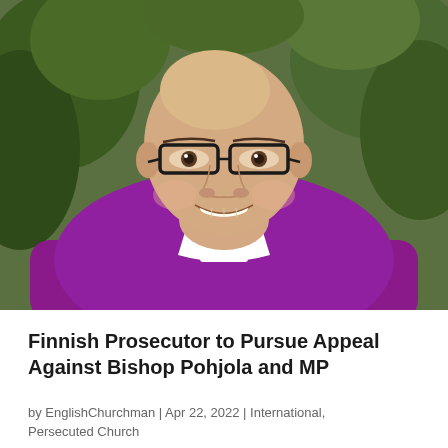[Figure (photo): Portrait photo of Bishop Pohjola, a bald man with black-rimmed glasses, smiling, wearing a purple clerical shirt with a white clerical collar, photographed outdoors with green foliage in the background.]
Finnish Prosecutor to Pursue Appeal Against Bishop Pohjola and MP
by EnglishChurchman | Apr 22, 2022 | International, Persecuted Church